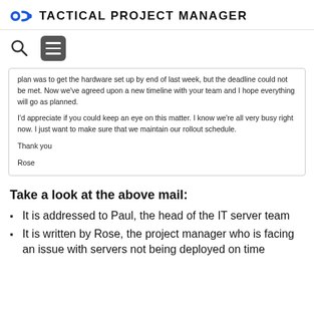TACTICAL PROJECT MANAGER
plan was to get the hardware set up by end of last week, but the deadline could not be met. Now we've agreed upon a new timeline with your team and I hope everything will go as planned.

I'd appreciate if you could keep an eye on this matter. I know we're all very busy right now. I just want to make sure that we maintain our rollout schedule.

Thank you

Rose
Take a look at the above mail:
It is addressed to Paul, the head of the IT server team
It is written by Rose, the project manager who is facing an issue with servers not being deployed on time